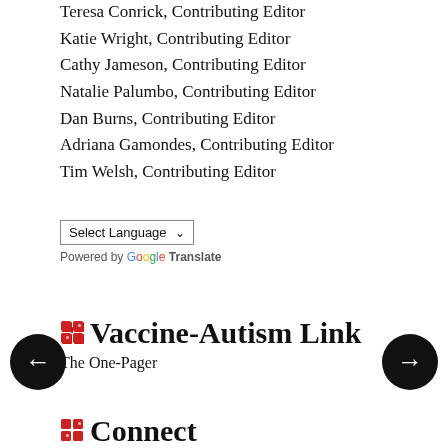Teresa Conrick, Contributing Editor
Katie Wright, Contributing Editor
Cathy Jameson, Contributing Editor
Natalie Palumbo, Contributing Editor
Dan Burns, Contributing Editor
Adriana Gamondes, Contributing Editor
Tim Welsh, Contributing Editor
Select Language ▾
Powered by Google Translate
Vaccine-Autism Link
The One-Pager
Connect